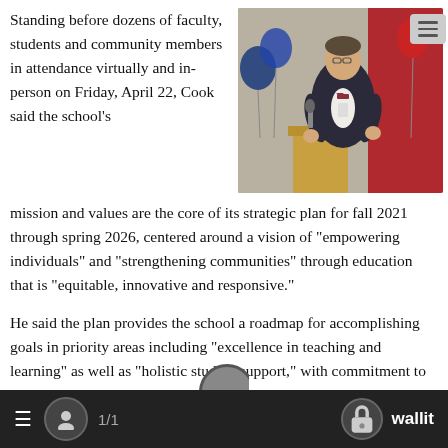Standing before dozens of faculty, students and community members in attendance virtually and in-person on Friday, April 22, Cook said the school's mission and values are the core of its strategic plan for fall 2021 through spring 2026, centered around a vision of "empowering individuals" and "strengthening communities" through education that is "equitable, innovative and responsive."
[Figure (photo): A man in a suit and bow tie speaking at a podium holding a microphone, with red and blue balloons in the background.]
He said the plan provides the school a roadmap for accomplishing goals in priority areas including "excellence in teaching and learning" as well as "holistic student support," with commitment to diversity, equity and inclusion initiatives. He added the college has organizational health standards that he said involve "looking inward and making sure the vitality of our staff or institution is healthy."
1/1   wallit